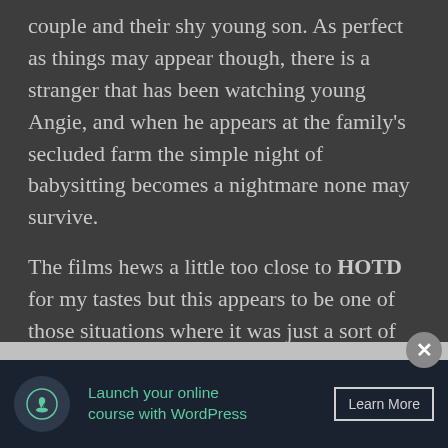couple and their shy young son. As perfect as things may appear though, there is a stranger that has been watching young Angie, and when he appears at the family's secluded farm the simple night of babysitting becomes a nightmare none may survive.
The films hews a little too close to HOTD for my tastes but this appears to be one of those situations where it was just a sort of galactic kismet as both were made at nearly the same time. And once BS gets going the film strays away from the previous film. I can't say I was surprised by anything but the refreshing
[Figure (other): Advertisement banner: 'Launch your online course with WordPress' with a tree/bonsai icon and a 'Learn More' button on dark navy background.]